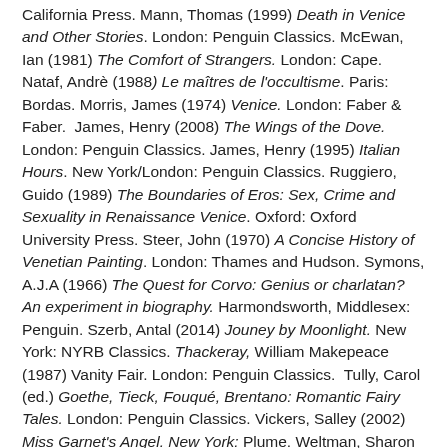California Press. Mann, Thomas (1999) Death in Venice and Other Stories. London: Penguin Classics. McEwan, Ian (1981) The Comfort of Strangers. London: Cape. Nataf, Andrè (1988) Le maîtres de l'occultisme. Paris: Bordas. Morris, James (1974) Venice. London: Faber & Faber.  James, Henry (2008) The Wings of the Dove. London: Penguin Classics. James, Henry (1995) Italian Hours. New York/London: Penguin Classics. Ruggiero, Guido (1989) The Boundaries of Eros: Sex, Crime and Sexuality in Renaissance Venice. Oxford: Oxford University Press. Steer, John (1970) A Concise History of Venetian Painting. London: Thames and Hudson. Symons, A.J.A (1966) The Quest for Corvo: Genius or charlatan? An experiment in biography. Harmondsworth, Middlesex: Penguin. Szerb, Antal (2014) Jouney by Moonlight. New York: NYRB Classics. Thackeray, William Makepeace (1987) Vanity Fair. London: Penguin Classics.  Tully, Carol (ed.) Goethe, Tieck, Fouqué, Brentano: Romantic Fairy Tales. London: Penguin Classics. Vickers, Salley (2002) Miss Garnet's Angel. New York: Plume. Weltman, Sharon Aronofsky (1997) "Mythic Language and Gender Subversion: The Case of Ruskin's Athena"